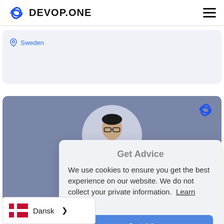DEVOP.ONE
Sweden
[Figure (photo): Profile photo of a man in a suit and bow tie on a grey-blue card with DEVOP.ONE logo]
We use cookies to ensure you get the best experience on our website. We do not collect your private information. Learn more
Got it!
Dansk >